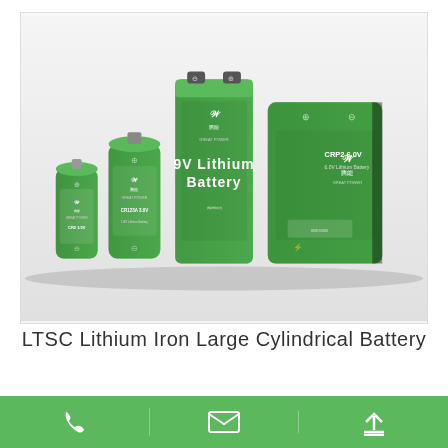[Figure (photo): Five green GREAT POWER lithium batteries of varying sizes arranged in ascending order from left to right: CR2 3.0V, CR123A 3.0V, 9V Lithium Battery, CRP2 6.0V, and a large rectangular battery. All batteries are dark green with white and silver text labels.]
LTSC Lithium Iron Large Cylindrical Battery
Phone | Email | Upload icons